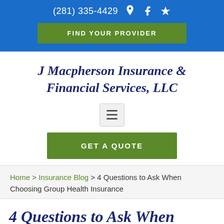(281) 335-4429
J Macpherson Insurance & Financial Services, LLC
GET A QUOTE
Home > Insurance Blog > 4 Questions to Ask When Choosing Group Health Insurance
4 Questions to Ask When